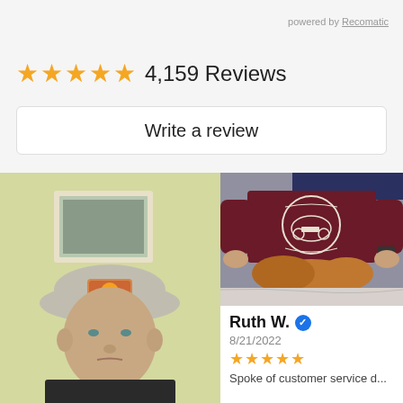powered by Recomatic
4,159 Reviews
Write a review
[Figure (photo): Man in a gray baseball cap with a sunset patch logo wearing a black t-shirt, taking a selfie indoors with a framed picture on the wall behind him.]
[Figure (photo): Person wearing a dark maroon t-shirt with a motorcycle club graphic, petting a golden/brown dog on a bed with marble-patterned bedding.]
Ruth W. ✓
8/21/2022
★★★★★
Spoke of customer service d...